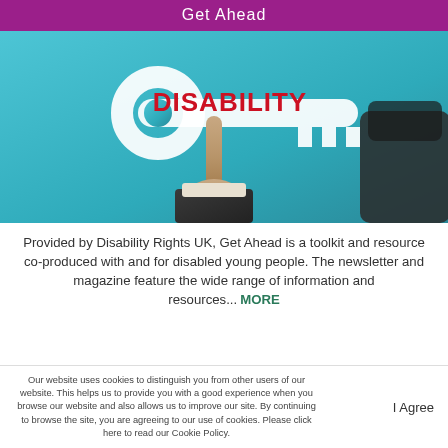Get Ahead
[Figure (photo): A hand with index finger pointing upward touching a floating key icon with the word DISABILITY in red text on a teal/blue background, with a suited figure visible at the right edge.]
Provided by Disability Rights UK, Get Ahead is a toolkit and resource co-produced with and for disabled young people. The newsletter and magazine feature the wide range of information and resources... MORE
Our website uses cookies to distinguish you from other users of our website. This helps us to provide you with a good experience when you browse our website and also allows us to improve our site. By continuing to browse the site, you are agreeing to our use of cookies. Please click here to read our Cookie Policy.
I Agree